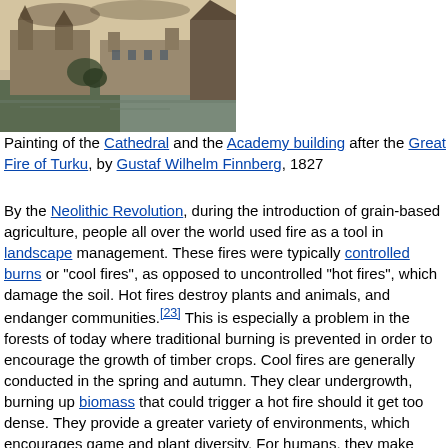[Figure (illustration): Painting of a cathedral and academy building near a river after the Great Fire of Turku, by Gustaf Wilhelm Finnberg, 1827]
Painting of the Cathedral and the Academy building after the Great Fire of Turku, by Gustaf Wilhelm Finnberg, 1827
By the Neolithic Revolution, during the introduction of grain-based agriculture, people all over the world used fire as a tool in landscape management. These fires were typically controlled burns or "cool fires", as opposed to uncontrolled "hot fires", which damage the soil. Hot fires destroy plants and animals, and endanger communities.[23] This is especially a problem in the forests of today where traditional burning is prevented in order to encourage the growth of timber crops. Cool fires are generally conducted in the spring and autumn. They clear undergrowth, burning up biomass that could trigger a hot fire should it get too dense. They provide a greater variety of environments, which encourages game and plant diversity. For humans, they make dense, impassable forests traversable. Another human use for fire in regards to landscape management is its use to clear land for agriculture. Slash-and-burn agriculture is still common across much of tropical Africa, Asia and South America. "For small farmers, it is a convenient way to clear overgrown areas and release nutrients from standing vegetation back into the soil", said